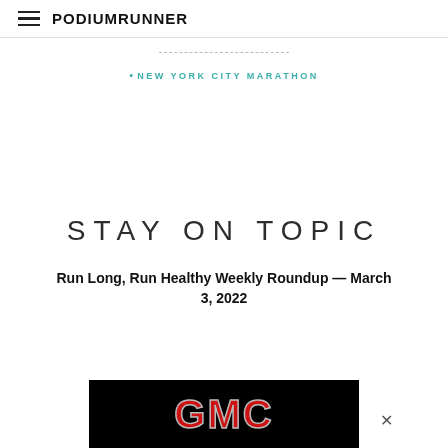PodiumRunner
NEW YORK CITY MARATHON
STAY ON TOPIC
Run Long, Run Healthy Weekly Roundup — March 3, 2022
[Figure (logo): GMC advertisement banner with red GMC text on black background with a close button]